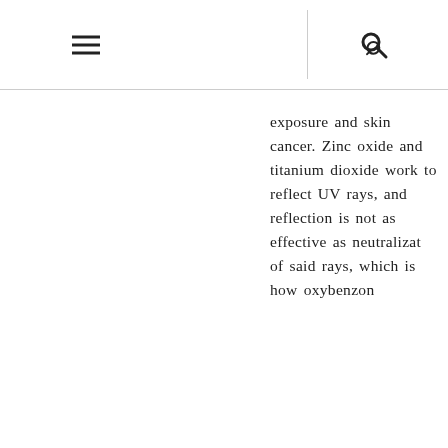≡  🔍
exposure and skin cancer. Zinc oxide and titanium dioxide work to reflect UV rays, and reflection is not as effective as neutralizat of said rays, which is how oxybenzon